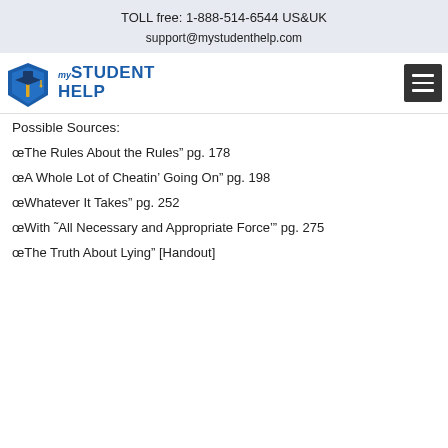TOLL free: 1-888-514-6544 US&UK
support@mystudenthelp.com
[Figure (logo): mySTUDENT HELP logo with graduation cap and blue shield]
Possible Sources:
œThe Rules About the Rules” pg. 178
œA Whole Lot of Cheatin’ Going On” pg. 198
œWhatever It Takes” pg. 252
œWith ˜All Necessary and Appropriate Force’” pg. 275
œThe Truth About Lying” [Handout]